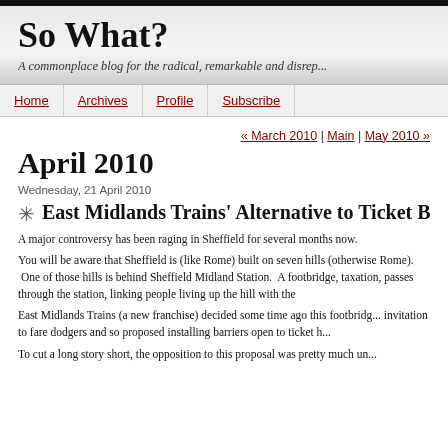So What?
A commonplace blog for the radical, remarkable and disrep...
Home | Archives | Profile | Subscribe
« March 2010 | Main | May 2010 »
April 2010
Wednesday, 21 April 2010
East Midlands Trains' Alternative to Ticket Ba...
A major controversy has been raging in Sheffield for several months now.
You will be aware that Sheffield is (like Rome) built on seven hills (otherwise Rome). One of those hills is behind Sheffield Midland Station. A footbridge, taxation, passes through the station, linking people living up the hill with the...
East Midlands Trains (a new franchise) decided some time ago this footbridg... invitation to fare dodgers and so proposed installing barriers open to ticket h...
To cut a long story short, the opposition to this proposal was pretty much un...